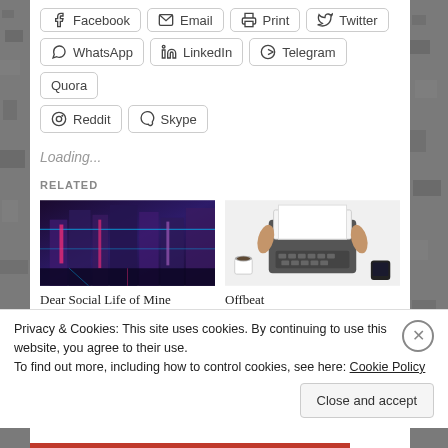[Figure (other): Row of social share buttons: Facebook, Email, Print, Twitter (partially visible at top, cropped)]
[Figure (other): Row of social share buttons: WhatsApp, LinkedIn, Telegram, Quora]
[Figure (other): Row of social share buttons: Reddit, Skype]
Loading...
RELATED
[Figure (photo): Photo of a neon-lit cyberpunk alley with blue and pink lighting]
Dear Social Life of Mine
June 8, 2019
[Figure (photo): Photo of hands using a vintage typewriter on a white desk with a coffee cup and smartphone]
Offbeat
March 4, 2019
Privacy & Cookies: This site uses cookies. By continuing to use this website, you agree to their use.
To find out more, including how to control cookies, see here: Cookie Policy
Close and accept